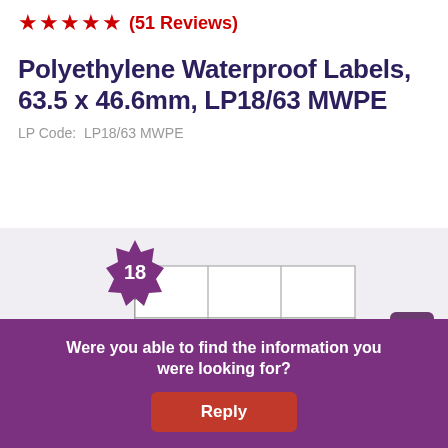★★★★★ (51 Reviews)
Polyethylene Waterproof Labels, 63.5 x 46.6mm, LP18/63 MWPE
LP Code: LP18/63 MWPE
[Figure (illustration): Label sheet diagram showing an A4 sheet with 18 label cells arranged in a 3x6 grid, with a purple star-burst badge showing the number 18 at top left.]
Were you able to find the information you were looking for?
Reply